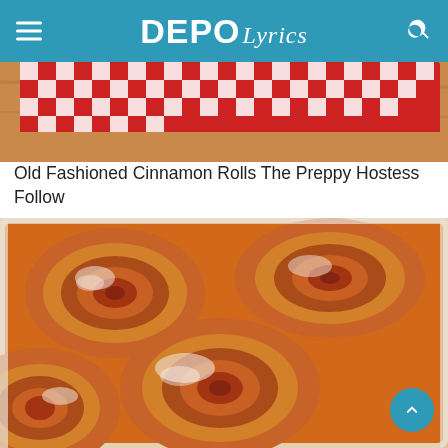DEPOLyrics
[Figure (photo): Partial photo of cinnamon rolls with red and white checkered cloth visible at top]
Old Fashioned Cinnamon Rolls The Preppy Hostess Follow
[Figure (photo): Close-up photo of old fashioned cinnamon rolls in a white baking dish, dusted with powdered sugar, showing swirled golden-brown rolls]